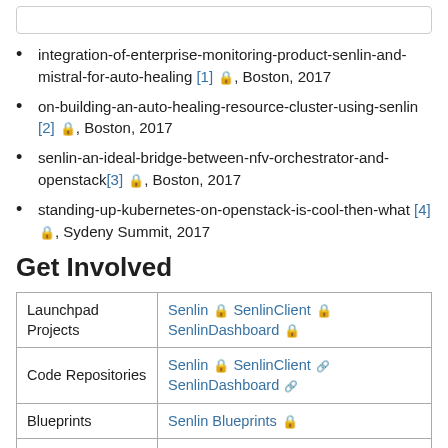integration-of-enterprise-monitoring-product-senlin-and-mistral-for-auto-healing [1] 🔒, Boston, 2017
on-building-an-auto-healing-resource-cluster-using-senlin [2] 🔒, Boston, 2017
senlin-an-ideal-bridge-between-nfv-orchestrator-and-openstack[3] 🔒, Boston, 2017
standing-up-kubernetes-on-openstack-is-cool-then-what [4] 🔒, Sydeny Summit, 2017
Get Involved
|  |  |
| --- | --- |
| Launchpad Projects | Senlin 🔒 SenlinClient 🔒 SenlinDashboard 🔒 |
| Code Repositories | Senlin 🔒 SenlinClient 🔗 SenlinDashboard 🔗 |
| Blueprints | Senlin Blueprints 🔒 |
| Code Review | Senlin 🔒 SenlinClient 🔒 SenlinDashboard 🔒 |
| Bug Tracking | Senlin 🔒 SenlinClient 🔒 |
| IRC Channel | ...join on freenode.net |